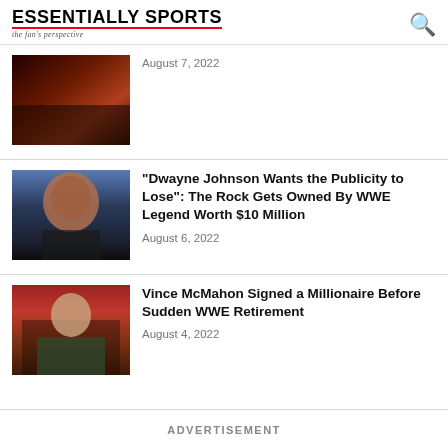ESSENTIALLY SPORTS — the fan's perspective
August 7, 2022
“Dwayne Johnson Wants the Publicity to Lose”: The Rock Gets Owned By WWE Legend Worth $10 Million
August 6, 2022
Vince McMahon Signed a Millionaire Before Sudden WWE Retirement
August 4, 2022
ADVERTISEMENT